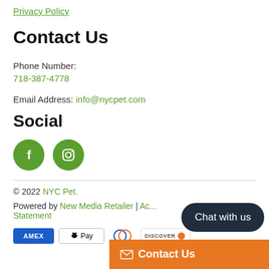Privacy Policy
Contact Us
Phone Number: 718-387-4778
Email Address: info@nycpet.com
Social
[Figure (illustration): Green circular Facebook and Instagram social media icons]
© 2022 NYC Pet.
Powered by New Media Retailer | Accessibility Statement
[Figure (other): Payment method icons: Amex, Apple Pay, Diners Club, Discover and others]